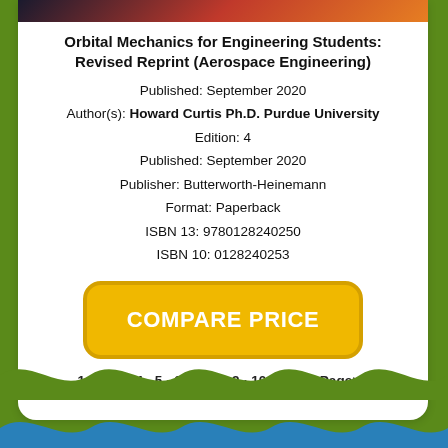[Figure (photo): Book cover thumbnail image — dark with orange/red tones]
Orbital Mechanics for Engineering Students: Revised Reprint (Aerospace Engineering)
Published: September 2020
Author(s): Howard Curtis Ph.D. Purdue University
Edition: 4
Published: September 2020
Publisher: Butterworth-Heinemann
Format: Paperback
ISBN 13: 9780128240250
ISBN 10: 0128240253
COMPARE PRICE
1 · 2 · 3 · 4 · 5 · 6 · 7 · 8 · 9 · 10 | Next Page>>